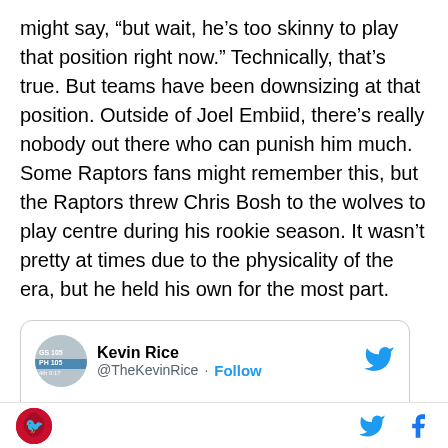might say, “but wait, he’s too skinny to play that position right now.” Technically, that’s true. But teams have been downsizing at that position. Outside of Joel Embiid, there’s really nobody out there who can punish him much. Some Raptors fans might remember this, but the Raptors threw Chris Bosh to the wolves to play centre during his rookie season. It wasn’t pretty at times due to the physicality of the era, but he held his own for the most part.
[Figure (screenshot): Tweet card from Kevin Rice (@TheKevinRice) with Follow button and Twitter bird icon. Tweet text reads: SIXERS VS RAPTORS BREAKDOWN]
Raptors HQ logo, Twitter icon, Facebook icon